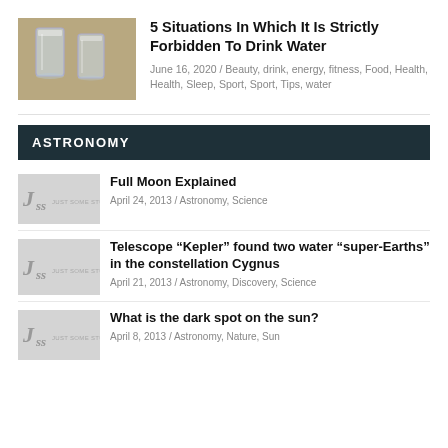[Figure (photo): Two glass cups of water on a wooden surface]
5 Situations In Which It Is Strictly Forbidden To Drink Water
June 16, 2020 / Beauty, drink, energy, fitness, Food, Health, Health, Sleep, Sport, Sport, Tips, water
ASTRONOMY
[Figure (logo): JSS Just Some Stuff logo placeholder]
Full Moon Explained
April 24, 2013 / Astronomy, Science
[Figure (logo): JSS Just Some Stuff logo placeholder]
Telescope “Kepler” found two water “super-Earths” in the constellation Cygnus
April 21, 2013 / Astronomy, Discovery, Science
[Figure (logo): JSS Just Some Stuff logo placeholder]
What is the dark spot on the sun?
April 8, 2013 / Astronomy, Nature, Sun